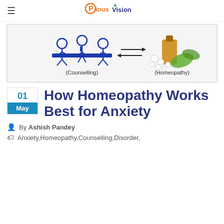Pious Vision
[Figure (illustration): Banner illustration showing counselling (two people sitting at a table with a consultant) with arrows pointing to homeopathy (a bottle of pills with herbal leaves). Labels: (Counselling) on left, (Homeopathy) on right.]
How Homeopathy Works Best for Anxiety
By Ashish Pandey
Anxiety,Homeopathy,Counselling,Disorder,